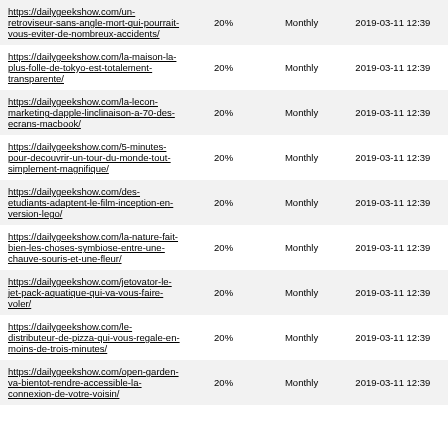| https://dailygeekshow.com/un-retroviseur-sans-angle-mort-qui-pourrait-vous-eviter-de-nombreux-accidents/ | 20% | Monthly | 2019-03-11 12:39 |
| https://dailygeekshow.com/la-maison-la-plus-folle-de-tokyo-est-totalement-transparente/ | 20% | Monthly | 2019-03-11 12:39 |
| https://dailygeekshow.com/la-lecon-marketing-dapple-linclinaison-a-70-des-ecrans-macbook/ | 20% | Monthly | 2019-03-11 12:39 |
| https://dailygeekshow.com/5-minutes-pour-decouvrir-un-tour-du-monde-tout-simplement-magnifique/ | 20% | Monthly | 2019-03-11 12:39 |
| https://dailygeekshow.com/des-etudiants-adaptent-le-film-inception-en-version-lego/ | 20% | Monthly | 2019-03-11 12:39 |
| https://dailygeekshow.com/la-nature-fait-bien-les-choses-symbiose-entre-une-chauve-souris-et-une-fleur/ | 20% | Monthly | 2019-03-11 12:39 |
| https://dailygeekshow.com/jetovator-le-jet-pack-aquatique-qui-va-vous-faire-voler/ | 20% | Monthly | 2019-03-11 12:39 |
| https://dailygeekshow.com/le-distributeur-de-pizza-qui-vous-regale-en-moins-de-trois-minutes/ | 20% | Monthly | 2019-03-11 12:39 |
| https://dailygeekshow.com/open-garden-va-bientot-rendre-accessible-la-connexion-de-votre-voisin/ | 20% | Monthly | 2019-03-11 12:39 |